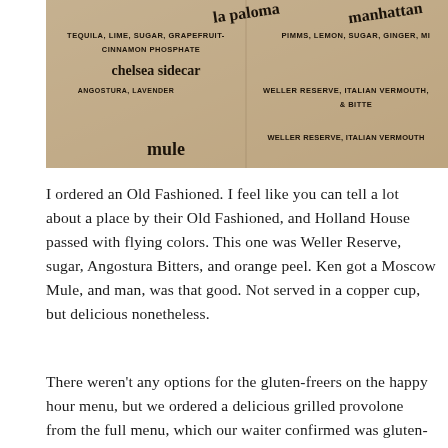[Figure (photo): A close-up photo of a cocktail menu printed on aged/kraft paper, showing drink names and ingredients including 'la paloma', 'chelsea sidecar', 'mule', 'manhattan', with ingredients like TEQUILA, LIME, SUGAR, GRAPEFRUIT, CINNAMON PHOSPHATE, ANGOSTURA, LAVENDER, PIMMS, LEMON, SUGAR, GINGER, WELLER RESERVE, ITALIAN VERMOUTH, & BITTERS]
I ordered an Old Fashioned. I feel like you can tell a lot about a place by their Old Fashioned, and Holland House passed with flying colors. This one was Weller Reserve, sugar, Angostura Bitters, and orange peel. Ken got a Moscow Mule, and man, was that good. Not served in a copper cup, but delicious nonetheless.
There weren't any options for the gluten-freers on the happy hour menu, but we ordered a delicious grilled provolone from the full menu, which our waiter confirmed was gluten-free. And man, was that good. The gist of it? One giant hunk of provolone, topped with prosciutto, roasted tomatoes, arugula